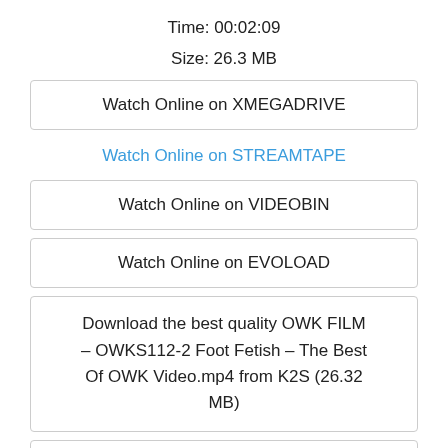Time: 00:02:09
Size: 26.3 MB
Watch Online on XMEGADRIVE
Watch Online on STREAMTAPE
Watch Online on VIDEOBIN
Watch Online on EVOLOAD
Download the best quality OWK FILM – OWKS112-2 Foot Fetish – The Best Of OWK Video.mp4 from K2S (26.32 MB)
Download the best quality OWK FILM